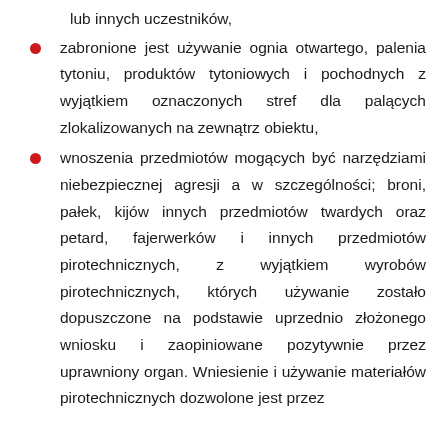lub innych uczestników,
zabronione jest używanie ognia otwartego, palenia tytoniu, produktów tytoniowych i pochodnych z wyjątkiem oznaczonych stref dla palących zlokalizowanych na zewnątrz obiektu,
wnoszenia przedmiotów mogących być narzędziami niebezpiecznej agresji a w szczególności; broni, pałek, kijów innych przedmiotów twardych oraz petard, fajerwerków i innych przedmiotów pirotechnicznych, z wyjątkiem wyrobów pirotechnicznych, których używanie zostało dopuszczone na podstawie uprzednio złożonego wniosku i zaopiniowane pozytywnie przez uprawniony organ. Wniesienie i używanie materiałów pirotechnicznych dozwolone jest przez